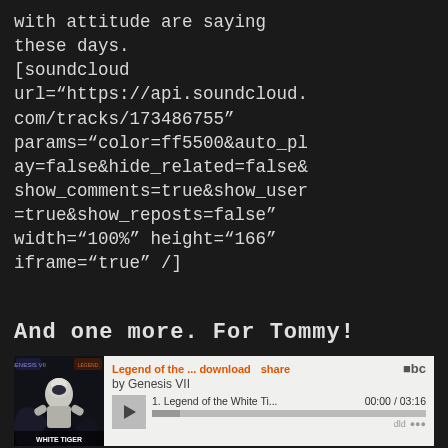with attitude are saying these days.
[soundcloud url="https://api.soundcloud.com/tracks/173486755" params="color=ff5500&auto_play=false&hide_related=false&show_comments=true&show_user=true&show_reposts=false" width="100%" height="166" iframe="true" /]
And one more. For Tommy!
[Figure (screenshot): Bandcamp embedded music player showing 'Legend of the...' by Genesis VII with album art of White Tiger, track '1. Legend of the White Ti...' with timestamp 00:00 / 03:16]